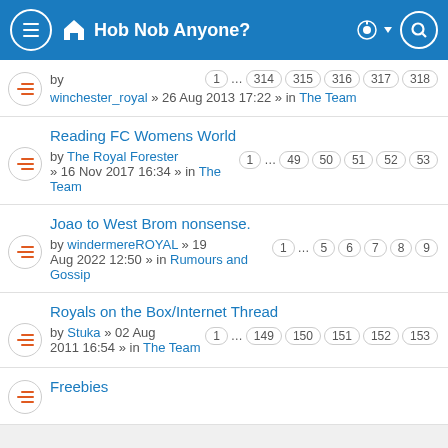Hob Nob Anyone?
by winchester_royal » 26 Aug 2013 17:22 » in The Team | pages: 1 … 314 315 316 317 318
Reading FC Womens World | by The Royal Forester » 16 Nov 2017 16:34 » in The Team | pages: 1 … 49 50 51 52 53
Joao to West Brom nonsense. | by windermereROYAL » 19 Aug 2022 12:50 » in Rumours and Gossip | pages: 1 … 5 6 7 8 9
Royals on the Box/Internet Thread | by Stuka » 02 Aug 2011 16:54 » in The Team | pages: 1 … 149 150 151 152 153
Freebies